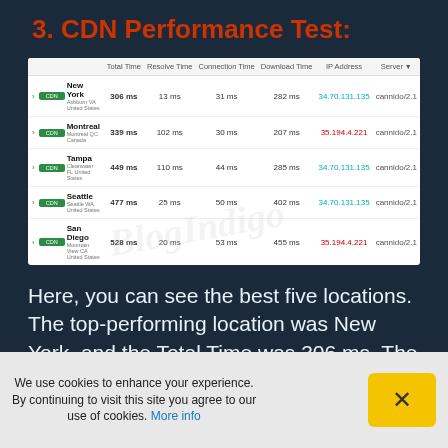3. CDN Performance Test:
|  | Total Time | Resolve Time | Connection Time | Download Time | IP Address | Server |
| --- | --- | --- | --- | --- | --- | --- |
| New York | 306 ms | 13 ms | 31 ms | 282 ms | 34.70.131.135 | cannido/2.1 |
| Montreal | 339 ms | 102 ms | 30 ms | 207 ms | 35.194.4.221 | cannido/2.1 |
| Tampa | 449 ms | 110 ms | 44 ms | 285 ms | 34.70.131.135 | cannido/2.1 |
| Seattle | 477 ms | 25 ms | 50 ms | 402 ms | 34.70.131.135 | cannido/2.1 |
| San Diego | 528 ms | 20 ms | 53 ms | 455 ms | 35.194.4.221 | cannido/2.1 |
Here, you can see the best five locations. The top-performing location was New York, and the Total Time was 306 ms. The worst performing location was Berlin with 1596 ms. Then, I calculated the Global average from a data set of 43 locations, and it came
We use cookies to enhance your experience. By continuing to visit this site you agree to our use of cookies. More info